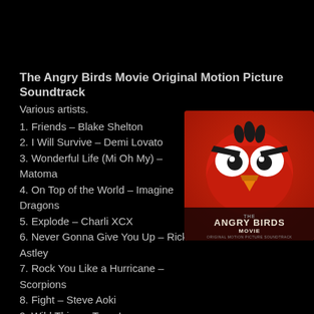The Angry Birds Movie Original Motion Picture Soundtrack
Various artists.
1. Friends – Blake Shelton
2. I Will Survive – Demi Lovato
3. Wonderful Life (Mi Oh My) – Matoma
4. On Top of the World – Imagine Dragons
5. Explode – Charli XCX
6. Never Gonna Give You Up – Rick Astley
7. Rock You Like a Hurricane – Scorpions
8. Fight – Steve Aoki
9. Wild Thing – Tone-Loc
10. Sound of da Police – KRS-ONE
11. Behind Blue Eyes – Limp Bizkit
12. The Mighty Eagle Song – Peter Dinklage
[Figure (illustration): Album cover for The Angry Birds Movie Original Motion Picture Soundtrack, featuring the character Red with angry eyebrows on a red background, with the movie logo below.]